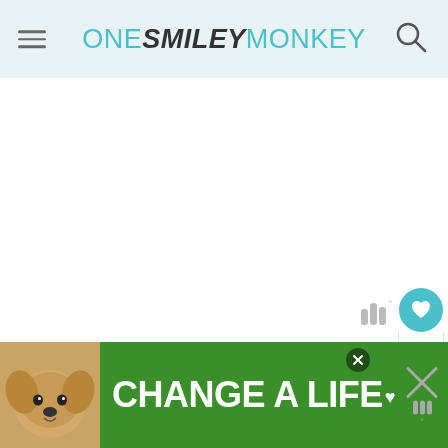ONE SMILEY MONKEY
[Figure (screenshot): Large white blank content area, likely where an image or ad would load]
The battery lasts up to 10 hours and you get a battery warning for you to charge it. I like that I can ea... (closing)
[Figure (photo): Green advertisement banner reading CHANGE A LIFE with a dog photo on the left and a close button]